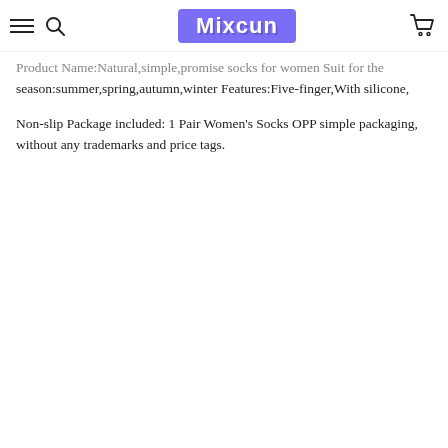Mixcun
Product Name:Natural,simple,promise socks for women Suit for the season:summer,spring,autumn,winter Features:Five-finger,With silicone,
Non-slip Package included: 1 Pair Women's Socks OPP simple packaging, without any trademarks and price tags.